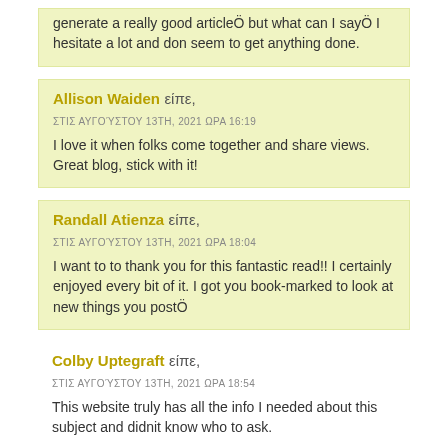generate a really good articleÖ but what can I sayÖ I hesitate a lot and don seem to get anything done.
Allison Waiden είπε,
ΣΤΙΣ ΑΥΓΟΎΣΤΟΥ 13ΤΗ, 2021 ΩΡΑ 16:19
I love it when folks come together and share views. Great blog, stick with it!
Randall Atienza είπε,
ΣΤΙΣ ΑΥΓΟΎΣΤΟΥ 13ΤΗ, 2021 ΩΡΑ 18:04
I want to to thank you for this fantastic read!! I certainly enjoyed every bit of it. I got you book-marked to look at new things you postÖ
Colby Uptegraft είπε,
ΣΤΙΣ ΑΥΓΟΎΣΤΟΥ 13ΤΗ, 2021 ΩΡΑ 18:54
This website truly has all the info I needed about this subject and didnit know who to ask.
Salvador Sjulstad είπε,
ΣΤΙΣ ΑΥΓΟΎΣΤΟΥ 13ΤΗ, 2021 ΩΡΑ 20:04